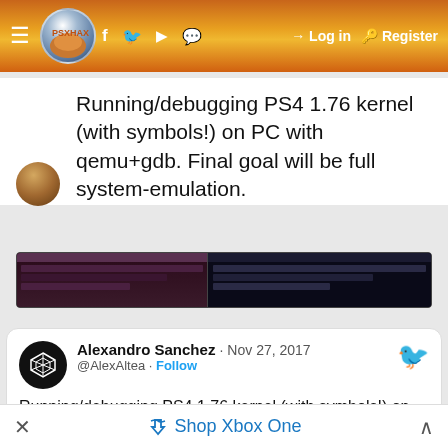PSXHAX navigation bar with hamburger menu, logo, social icons (Facebook, Twitter, YouTube, Chat), Log in, Register
Running/debugging PS4 1.76 kernel (with symbols!) on PC with qemu+gdb. Final goal will be full system-emulation.
[Figure (screenshot): Screenshot of a terminal/debugger window with dark background, purple/maroon sidebar on left and dark right panel]
Alexandro Sanchez · Nov 27, 2017
@AlexAltea · Follow
Running/debugging PS4 1.76 kernel (with symbols!) on PC with qemu+gdb. Final goal will be full system-emulation.
[Figure (screenshot): Screenshot of a terminal window showing debugging output with dark background, purple sidebar, and dark main area with text]
× Shop Xbox One ^